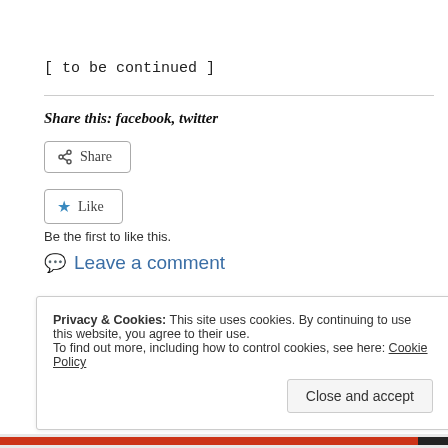[ to be continued ]
Share this: facebook, twitter
[Figure (other): Share button with share icon]
[Figure (other): Like button with star icon]
Be the first to like this.
Leave a comment
Privacy & Cookies: This site uses cookies. By continuing to use this website, you agree to their use. To find out more, including how to control cookies, see here: Cookie Policy
Close and accept